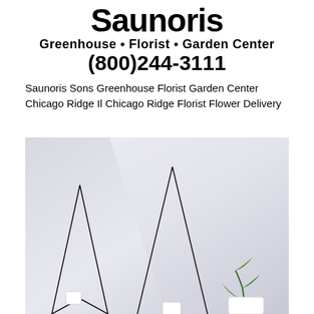[Figure (logo): Saunoris Greenhouse Florist Garden Center logo with bold black text showing brand name, tagline 'Greenhouse • Florist • Garden Center' and phone number (800)244-3111]
Saunoris Sons Greenhouse Florist Garden Center Chicago Ridge Il Chicago Ridge Florist Flower Delivery
[Figure (photo): Photo showing geometric diamond/triangle shaped wire frames against a light gray background, with a small green plant visible on the right side. The frames appear to be decorative wall hangings or terrariums.]